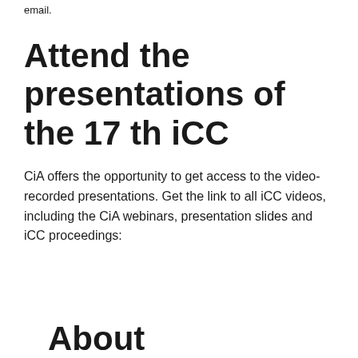email.
Attend the presentations of the 17 th iCC
CiA offers the opportunity to get access to the video-recorded presentations. Get the link to all iCC videos, including the CiA webinars, presentation slides and iCC proceedings:
About